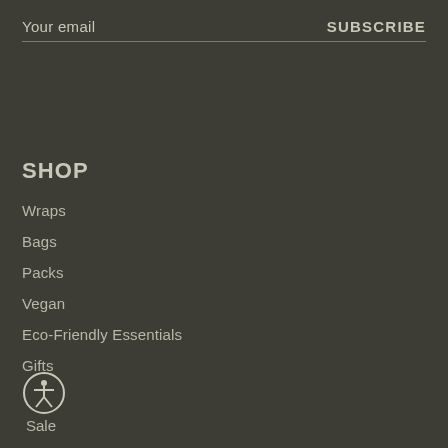Your email
SUBSCRIBE
SHOP
Wraps
Bags
Packs
Vegan
Eco-Friendly Essentials
Gifts
[Figure (illustration): Accessibility icon — a circle with a human figure (person with arms and legs spread) inside]
Sale